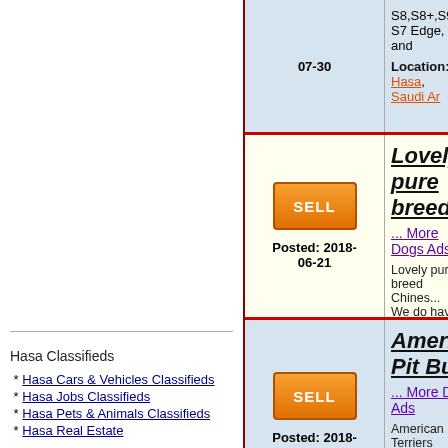07-30 | S8,S8+,S9, S7 Edge, and ... Location: Hasa, Saudi Ar...
[Figure (other): SELL orange button]
Lovely pure breed... ... More Dogs Ads
Lovely pure breed Chines... We do have male and fem... trained, very socialized wi...
Location: Hasa, Saudi Ar...
Posted: 2018-06-21
[Figure (other): SELL orange button]
American Pit Bull... ... More Dogs Ads
American Pit Bull Terriers good home. there's 3 girls... registration papers. prices...
Location: Hasa, Saudi Ar...
Posted: 2018-06-21
Akc Beautiful Pu...
Hasa Classifieds
* Hasa Cars & Vehicles Classifieds
* Hasa Jobs Classifieds
* Hasa Pets & Animals Classifieds
* Hasa Real Estate